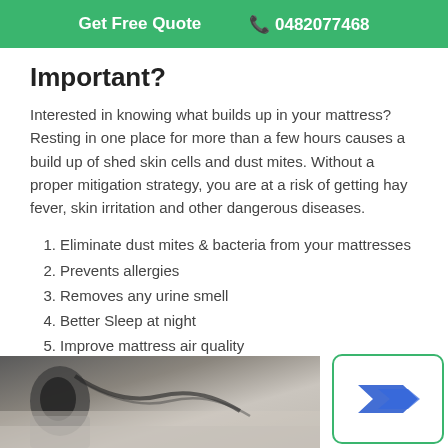Get Free Quote   📞 0482077468
Important?
Interested in knowing what builds up in your mattress? Resting in one place for more than a few hours causes a build up of shed skin cells and dust mites. Without a proper mitigation strategy, you are at a risk of getting hay fever, skin irritation and other dangerous diseases.
1. Eliminate dust mites & bacteria from your mattresses
2. Prevents allergies
3. Removes any urine smell
4. Better Sleep at night
5. Improve mattress air quality
[Figure (photo): Photo of a mattress cleaning process, showing equipment on a mattress surface]